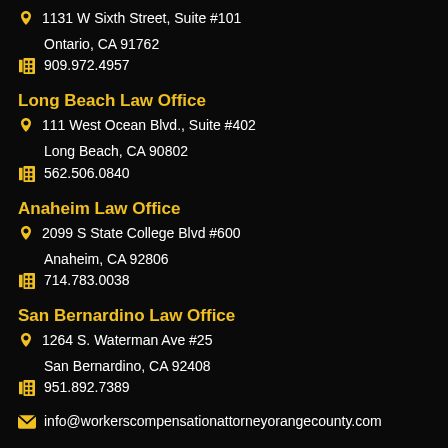1131 W Sixth Street, Suite #101
Ontario, CA 91762
909.972.4957
Long Beach Law Office
111 West Ocean Blvd., Suite #402
Long Beach, CA 90802
562.506.0840
Anaheim Law Office
2099 S State College Blvd #600
Anaheim, CA 92806
714.783.0038
San Bernardino Law Office
1264 S. Waterman Ave #25
San Bernardino, CA 92408
951.892.7389
info@workerscompensationattorneyorangecounty.com